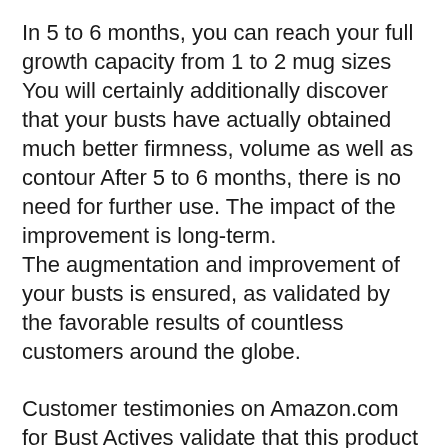In 5 to 6 months, you can reach your full growth capacity from 1 to 2 mug sizes You will certainly additionally discover that your busts have actually obtained much better firmness, volume as well as contour After 5 to 6 months, there is no need for further use. The impact of the improvement is long-term.
The augmentation and improvement of your busts is ensured, as validated by the favorable results of countless customers around the globe.
Customer testimonies on Amazon.com for Bust Actives validate that this product is working well. Women with small breasts had busts bigger. Others with good dimension yet absence of suppleness and also form have